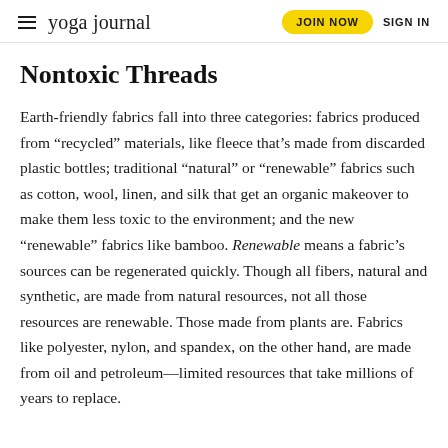yoga journal | JOIN NOW  SIGN IN
Nontoxic Threads
Earth-friendly fabrics fall into three categories: fabrics produced from “recycled” materials, like fleece that’s made from discarded plastic bottles; traditional “natural” or “renewable” fabrics such as cotton, wool, linen, and silk that get an organic makeover to make them less toxic to the environment; and the new “renewable” fabrics like bamboo. Renewable means a fabric’s sources can be regenerated quickly. Though all fibers, natural and synthetic, are made from natural resources, not all those resources are renewable. Those made from plants are. Fabrics like polyester, nylon, and spandex, on the other hand, are made from oil and petroleum—limited resources that take millions of years to replace.